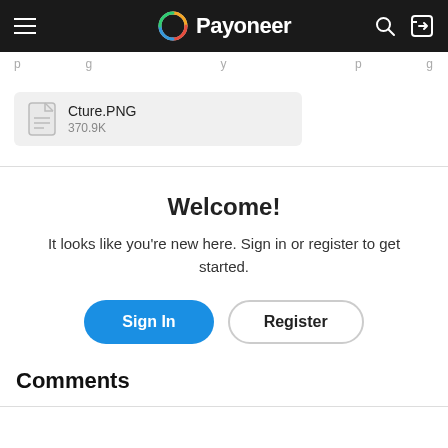Payoneer — navigation bar with hamburger menu, logo, search and sign-in icons
p   g   y   p   g
[Figure (other): File attachment item showing Cture.PNG, 370.9K]
Welcome!
It looks like you're new here. Sign in or register to get started.
Sign In   Register
Comments